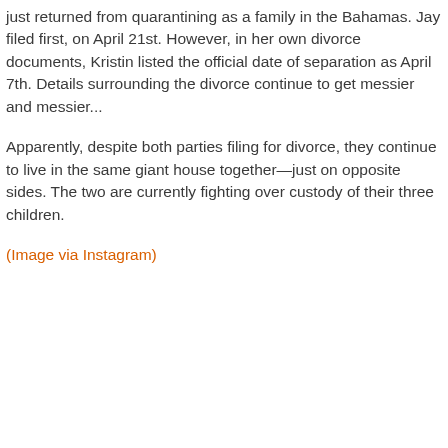just returned from quarantining as a family in the Bahamas. Jay filed first, on April 21st. However, in her own divorce documents, Kristin listed the official date of separation as April 7th. Details surrounding the divorce continue to get messier and messier...
Apparently, despite both parties filing for divorce, they continue to live in the same giant house together—just on opposite sides. The two are currently fighting over custody of their three children.
(Image via Instagram)